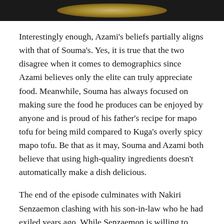[Figure (photo): Dark scene from an anime episode, showing a glowing light in the center against a black background.]
Interestingly enough, Azami's beliefs partially aligns with that of Souma's. Yes, it is true that the two disagree when it comes to demographics since Azami believes only the elite can truly appreciate food. Meanwhile, Souma has always focused on making sure the food he produces can be enjoyed by anyone and is proud of his father's recipe for mapo tofu for being mild compared to Kuga's overly spicy mapo tofu. Be that as it may, Souma and Azami both believe that using high-quality ingredients doesn't automatically make a dish delicious.
The end of the episode culminates with Nakiri Senzaemon clashing with his son-in-law who he had exiled years ago. While Senzaemon is willing to expel students who don't meet the academy's standards, he still believes that